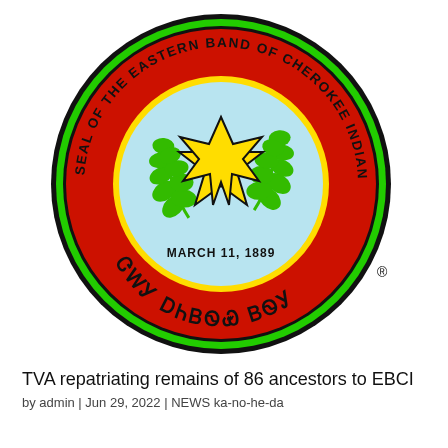[Figure (logo): Seal of the Eastern Band of Cherokee Indians — circular seal with green outer ring, red band inscribed 'SEAL OF THE EASTERN BAND OF CHEROKEE INDIANS' in top arc and Cherokee syllabary characters at bottom, yellow inner ring, light blue center circle with green oak laurel wreath flanking a yellow seven-pointed star, text 'MARCH 11, 1889' at bottom inside, registered trademark symbol at lower right.]
TVA repatriating remains of 86 ancestors to EBCI
by admin | Jun 29, 2022 | NEWS ka-no-he-da